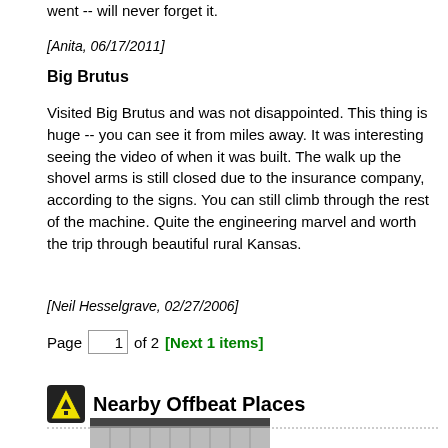went -- will never forget it.
[Anita, 06/17/2011]
Big Brutus
Visited Big Brutus and was not disappointed. This thing is huge -- you can see it from miles away. It was interesting seeing the video of when it was built. The walk up the shovel arms is still closed due to the insurance company, according to the signs. You can still climb through the rest of the machine. Quite the engineering marvel and worth the trip through beautiful rural Kansas.
[Neil Hesselgrave, 02/27/2006]
Page 1 of 2 [Next 1 items]
Nearby Offbeat Places
[Figure (photo): Bottom portion of a photo strip showing a building or structure]